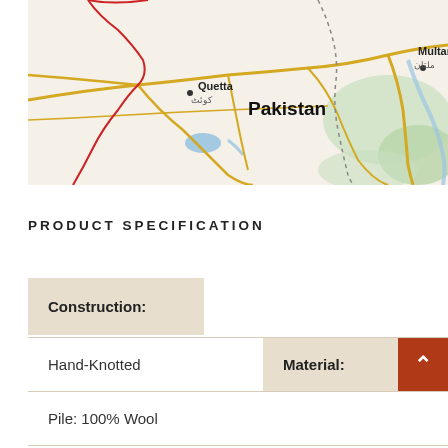[Figure (map): Map showing Pakistan region with Quetta (کوئٹ) and Multan (ملتان) labeled, road network in yellow/gold, political borders in red, green terrain areas, and blue water features.]
PRODUCT SPECIFICATION
| Construction: |  | Material: |
| --- | --- | --- |
| Hand-Knotted |  |  |
| Pile: 100% Wool |  |  |